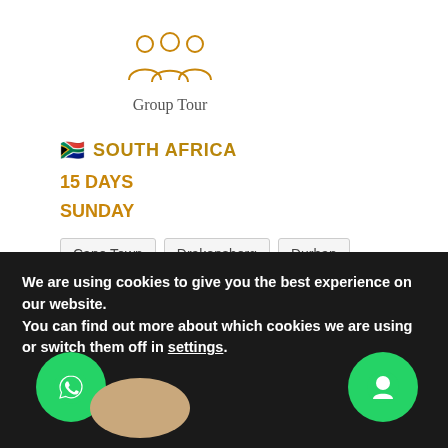[Figure (illustration): Group of people icon (group tour icon) in golden/brown outline style]
Group Tour
🇿🇦 SOUTH AFRICA
15 DAYS
SUNDAY
Cape Town
Drakensberg
Durban
Eastern Cape
Garden Route
Hazyview
Knysna
Kruger National Park
Oudtshoorn
Port Elizabeth
Zululand
We are using cookies to give you the best experience on our website.
You can find out more about which cookies we are using or switch them off in settings.